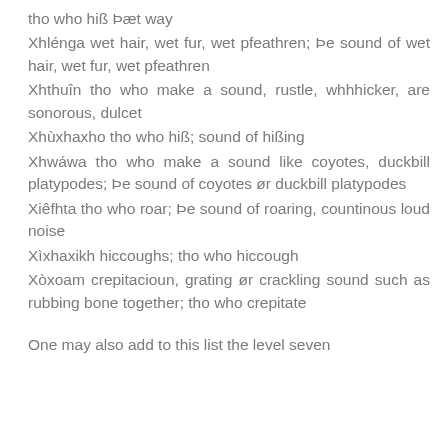tho who hiß Þæt way
Xhlénga wet hair, wet fur, wet pfeathren; Þe sound of wet hair, wet fur, wet pfeathren
Xhthuîn tho who make a sound, rustle, whhhicker, are sonorous, dulcet
Xhùxhaxho tho who hiß; sound of hißing
Xhwáwa tho who make a sound like coyotes, duckbill platypodes; Þe sound of coyotes ør duckbill platypodes
Xiêfhta tho who roar; Þe sound of roaring, countinous loud noise
Xìxhaxikh hiccoughs; tho who hiccough
Xòxoam crepitacioun, grating ør crackling sound such as rubbing bone together; tho who crepitate
One may also add to this list the level seven